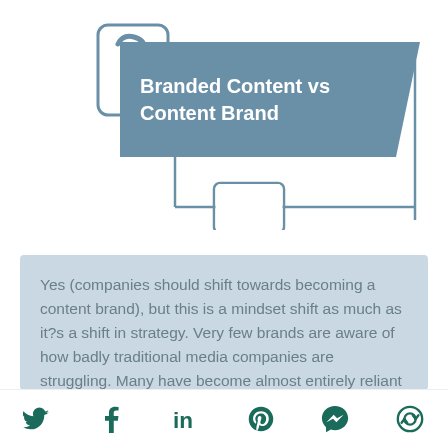[Figure (infographic): Infographic with a question mark icon, a blue parallelogram banner titled 'Branded Content vs Content Brand', a speech bubble connector, and decorative lines framing the layout.]
Branded Content vs Content Brand
Yes (companies should shift towards becoming a content brand), but this is a mindset shift as much as it?s a shift in strategy. Very few brands are aware of how badly traditional media companies are struggling. Many have become almost entirely reliant on freelancers, and many of those freelancers aren?t paid. The
[Figure (infographic): Social media share icons row: Twitter bird, Facebook f, LinkedIn in, Pinterest P, Messenger, and a share/refresh icon, all in dark teal color.]